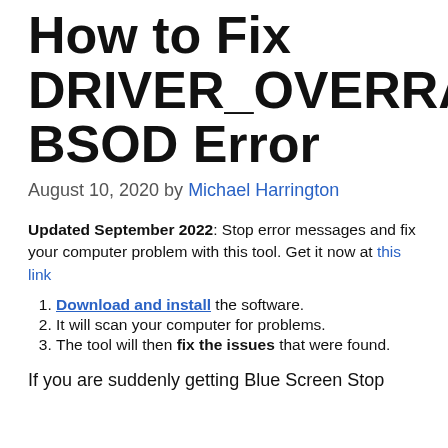How to Fix DRIVER_OVERRAN_STACK_BUFFER BSOD Error
August 10, 2020 by Michael Harrington
Updated September 2022: Stop error messages and fix your computer problem with this tool. Get it now at this link
Download and install the software.
It will scan your computer for problems.
The tool will then fix the issues that were found.
If you are suddenly getting Blue Screen Stop